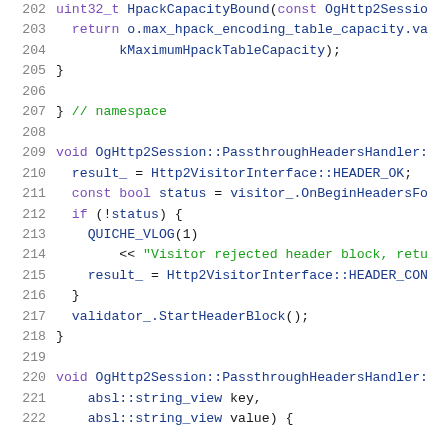[Figure (screenshot): Source code viewer showing C++ code lines 202–222, syntax highlighted. Lines show HpackCapacityBound function, namespace closing brace, PassthroughHeadersHandler implementations with Http2VisitorInterface calls, QUICHE_VLOG logging, and validator StartHeaderBlock call.]